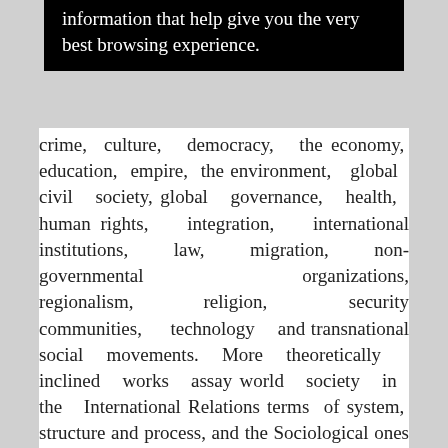information that help give you the very best browsing experience.
crime, culture, democracy, the economy, education, empire, the environment, global civil society, global governance, health, human rights, integration, international institutions, law, migration, non-governmental organizations, regionalism, religion, security communities, technology and transnational social movements. More theoretically inclined works assay world society in the International Relations terms of system, structure and process, and the Sociological ones of society and community. The sheer diversity of subjects associated with and tethered to it suggests that it has become something of a trope to capture a web of relations between diverse actors, distinct from and